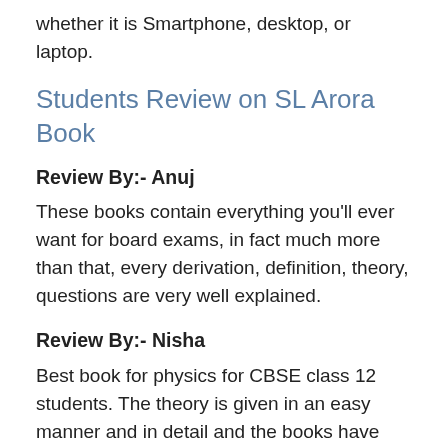whether it is Smartphone, desktop, or laptop.
Students Review on SL Arora Book
Review By:- Anuj
These books contain everything you'll ever want for board exams, in fact much more than that, every derivation, definition, theory, questions are very well explained.
Review By:- Nisha
Best book for physics for CBSE class 12 students. The theory is given in an easy manner and in detail and the books have lots of solved examples and solved numericals. The book also has a competitive section which is very useful